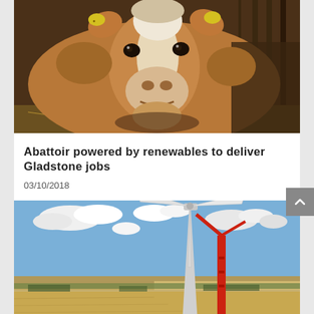[Figure (photo): Close-up photo of a brown and white cow with yellow ear tags chewing hay in a barn]
Abattoir powered by renewables to deliver Gladstone jobs
03/10/2018
[Figure (photo): Aerial photo of a wind turbine being constructed in a large flat agricultural landscape with fields and trees under blue sky with clouds]